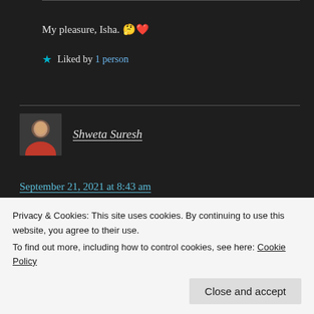My pleasure, Isha. 🤔❤️
★ Liked by 1 person
Shweta Suresh
September 21, 2021 at 8:43 am
So true. Preconceived notions, assumptions and
Privacy & Cookies: This site uses cookies. By continuing to use this website, you agree to their use.
To find out more, including how to control cookies, see here: Cookie Policy
Close and accept